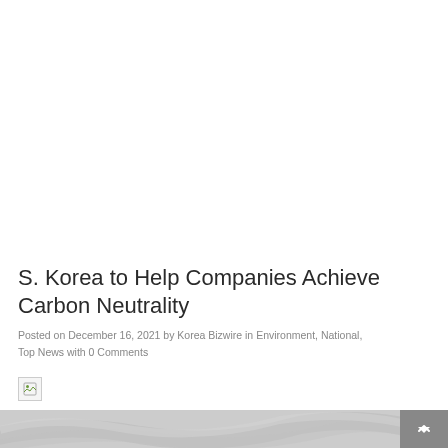S. Korea to Help Companies Achieve Carbon Neutrality
Posted on December 16, 2021 by Korea Bizwire in Environment, National, Top News with 0 Comments
[Figure (photo): Broken/missing image placeholder (small icon, top-left)]
[Figure (photo): Partial decorative image strip at bottom of page showing grey abstract curves/lines]